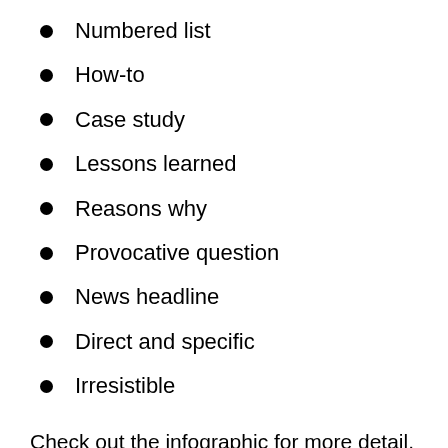Numbered list
How-to
Case study
Lessons learned
Reasons why
Provocative question
News headline
Direct and specific
Irresistible
Check out the infographic for more detail.